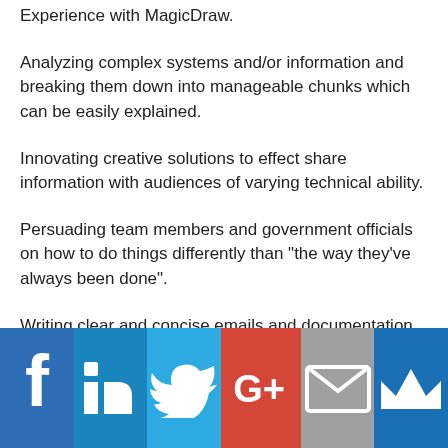Experience with MagicDraw.
Analyzing complex systems and/or information and breaking them down into manageable chunks which can be easily explained.
Innovating creative solutions to effect share information with audiences of varying technical ability.
Persuading team members and government officials on how to do things differently than "the way they've always been done".
Writing clear and concise emails and documentation without burying the important points in paragraphs of unnecessary information.
Understanding the needs and desires of other team
[Figure (infographic): Social media sharing bar with icons: Facebook (blue), LinkedIn (blue), Twitter (light blue), Google+ (red), Email/envelope (gray), Crown/newsletter (dark blue)]